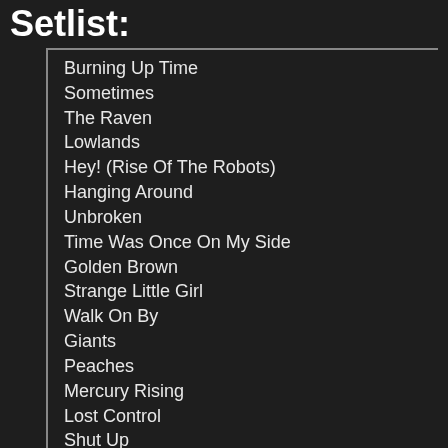Setlist:
Burning Up Time
Sometimes
The Raven
Lowlands
Hey! (Rise Of The Robots)
Hanging Around
Unbroken
Time Was Once On My Side
Golden Brown
Strange Little Girl
Walk On By
Giants
Peaches
Mercury Rising
Lost Control
Shut Up
No More Heroes
Relentless
Something Better Change
Time To Die